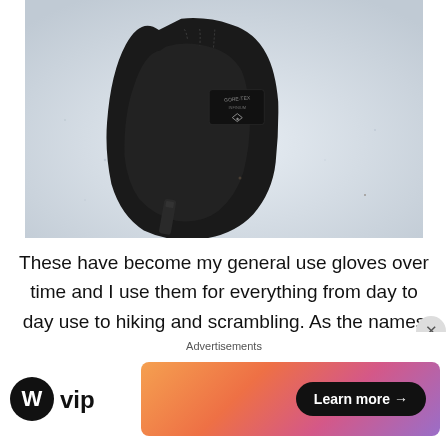[Figure (photo): Black Gore-Tex Infinium glove laid on snow, showing the palm side with a small pull tab, photographed from above on a white snowy surface.]
These have become my general use gloves over time and I use them for everything from day to day use to hiking and scrambling. As the names suggests they do a
Advertisements
[Figure (logo): WordPress VIP logo with circular W icon followed by 'vip' text]
[Figure (infographic): Advertisement banner with gradient orange-pink-purple background and a 'Learn more →' button in black rounded rectangle]